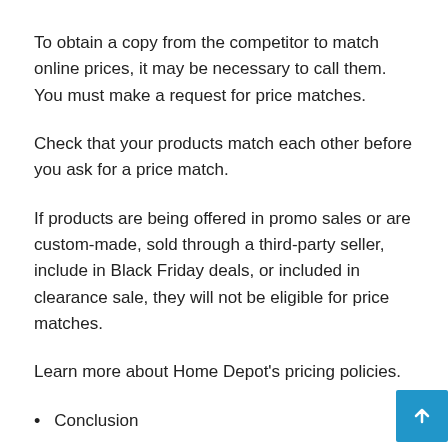To obtain a copy from the competitor to match online prices, it may be necessary to call them. You must make a request for price matches.
Check that your products match each other before you ask for a price match.
If products are being offered in promo sales or are custom-made, sold through a third-party seller, include in Black Friday deals, or included in clearance sale, they will not be eligible for price matches.
Learn more about Home Depot's pricing policies.
Conclusion
Home Depot offers a price adjustment policy that allows